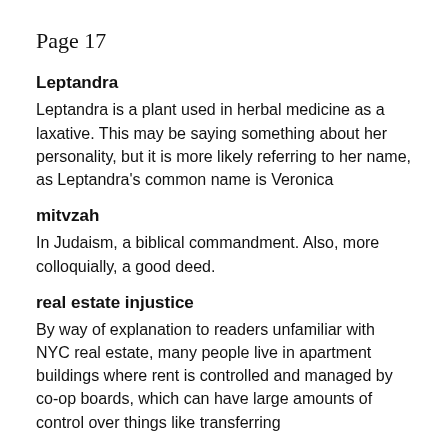Page 17
Leptandra
Leptandra is a plant used in herbal medicine as a laxative. This may be saying something about her personality, but it is more likely referring to her name, as Leptandra's common name is Veronica
mitvzah
In Judaism, a biblical commandment. Also, more colloquially, a good deed.
real estate injustice
By way of explanation to readers unfamiliar with NYC real estate, many people live in apartment buildings where rent is controlled and managed by co-op boards, which can have large amounts of control over things like transferring